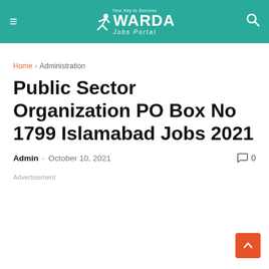WARDA Jobs Portal
Home > Administration
Public Sector Organization PO Box No 1799 Islamabad Jobs 2021
Admin - October 10, 2021  0
Advertisement